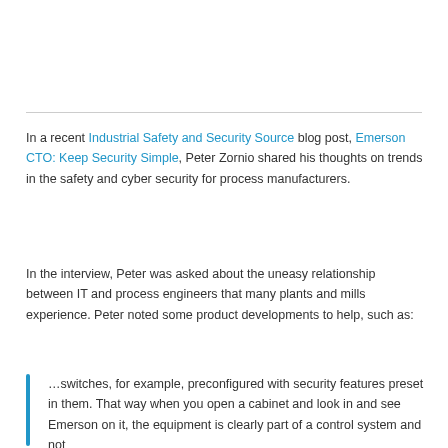In a recent Industrial Safety and Security Source blog post, Emerson CTO: Keep Security Simple, Peter Zornio shared his thoughts on trends in the safety and cyber security for process manufacturers.
In the interview, Peter was asked about the uneasy relationship between IT and process engineers that many plants and mills experience. Peter noted some product developments to help, such as:
…switches, for example, preconfigured with security features preset in them. That way when you open a cabinet and look in and see Emerson on it, the equipment is clearly part of a control system and not